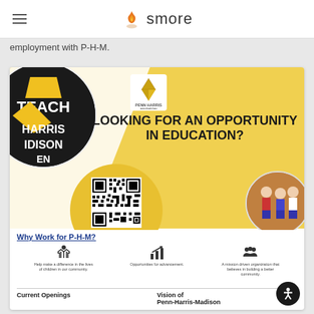smore
employment with P-H-M.
[Figure (infographic): Penn-Harris-Madison School Corporation recruitment flyer. Shows 'LOOKING FOR AN OPPORTUNITY IN EDUCATION?' headline with PHM logo, QR code with 'SCAN TO APPLY', 'Why Work for P-H-M?' section with three icons (help make a difference in the lives of children in our community, Opportunities for advancement, A mission driven organization that believes in building a better community), divider line, and bottom section with 'Current Openings' and 'Vision of Penn-Harris-Madison'.]